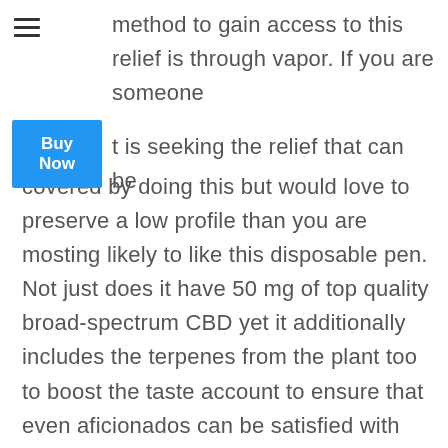method to gain access to this relief is through vapor. If you are someone that is seeking the relief that can be discovered by doing this but would love to preserve a low profile than you are mosting likely to like this disposable pen. Not just does it have 50 mg of top quality broad-spectrum CBD yet it additionally includes the terpenes from the plant too to boost the taste account to ensure that even aficionados can be satisfied with this product.